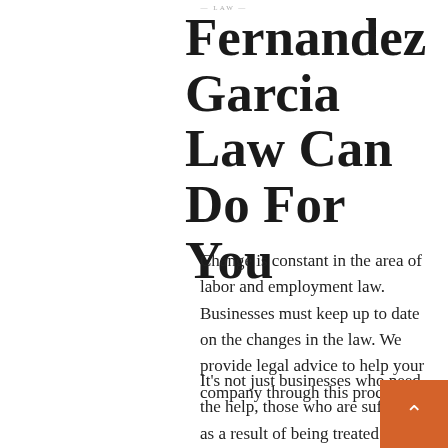LAW
Fernandez Garcia Law Can Do For You
Change is constant in the area of labor and employment law. Businesses must keep up to date on the changes in the law. We provide legal advice to help your company through this process.
It's not just businesses who need the help, those who are suffering as a result of being treated unfairly or